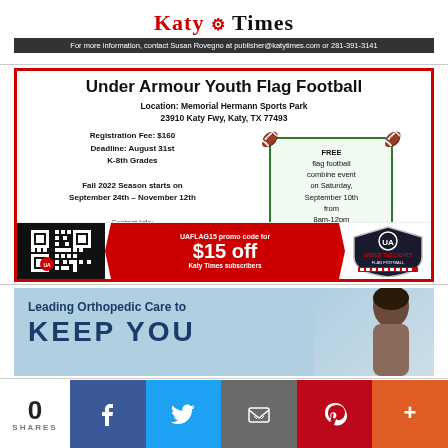[Figure (advertisement): Katy Times newspaper logo and contact information ad - 'For more information, contact Susan Rovegno at publisher@katytimes.com or 281-391-3141']
[Figure (advertisement): Under Armour Youth Flag Football advertisement. Location: Memorial Hermann Sports Park, 23910 Katy Fwy, Katy, TX 77493. Registration Fee: $160, Deadline: August 31st, K-8th Grades. Fall 2022 Season starts on September 24th - November 12th. Contact Info: 281-640-0510, katy@ualflag.com. FREE flag football combine event on Saturday, September 10th from 8am-12pm. UAFLAG15 promo code for $15 off Katy Times subscribers. Under The Lights Flag Football logo.]
[Figure (advertisement): Leading Orthopedic Care to KEEP YOU advertisement with image of a person]
[Figure (infographic): Social sharing bar with 0 SHARES, Facebook, Twitter, Email, Pinterest, and More buttons]